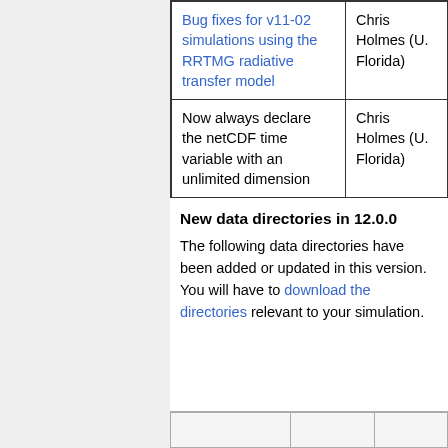| Description | Author |
| --- | --- |
| Bug fixes for v11-02 simulations using the RRTMG radiative transfer model | Chris Holmes (U. Florida) |
| Now always declare the netCDF time variable with an unlimited dimension | Chris Holmes (U. Florida) |
New data directories in 12.0.0
The following data directories have been added or updated in this version. You will have to download the directories relevant to your simulation.